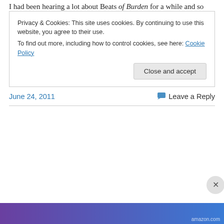I had been hearing a lot about Beats of Burden for a while and so picked up the first issue on Free Comic Book Day. It's really great. Neighborhood pets as paranormal investigators sounds like kiddie fare, but don't let that or the art style throw you – it's hardcore.
And Jill Thompson won the National Cartoonists Society's division award for Best Comic Book just a few weeks ago.
June 24, 2011
Leave a Reply
Privacy & Cookies: This site uses cookies. By continuing to use this website, you agree to their use.
To find out more, including how to control cookies, see here: Cookie Policy
Close and accept